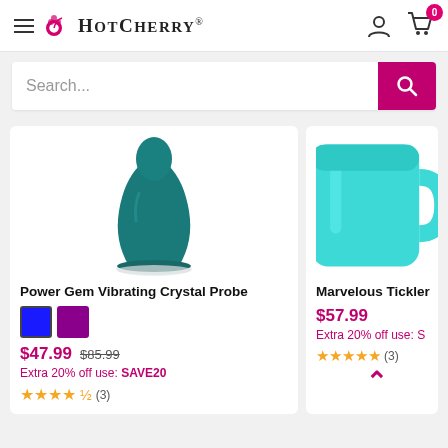HotCherry® — navigation header with hamburger menu, logo, account icon, cart (0)
Search...
[Figure (photo): Teal/dark teal vibrating crystal probe product photo on white background]
Power Gem Vibrating Crystal Probe
$47.99  $85.99
Extra 20% off use: SAVE20
★★★★½ (3)
[Figure (photo): Teal/cyan tickler product photo, partially visible, on white background]
Marvelous Tickler
$57.99
Extra 20% off use: S
★★★★★ (3)